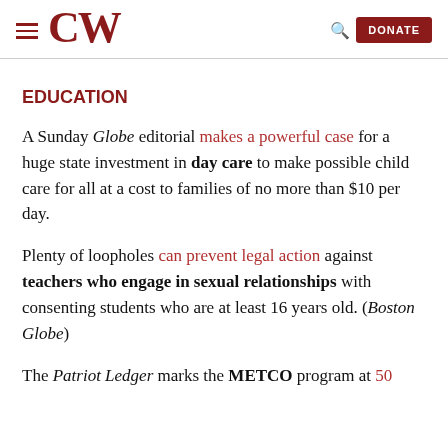CW — DONATE
EDUCATION
A Sunday Globe editorial makes a powerful case for a huge state investment in day care to make possible child care for all at a cost to families of no more than $10 per day.
Plenty of loopholes can prevent legal action against teachers who engage in sexual relationships with consenting students who are at least 16 years old. (Boston Globe)
The Patriot Ledger marks the METCO program at 50